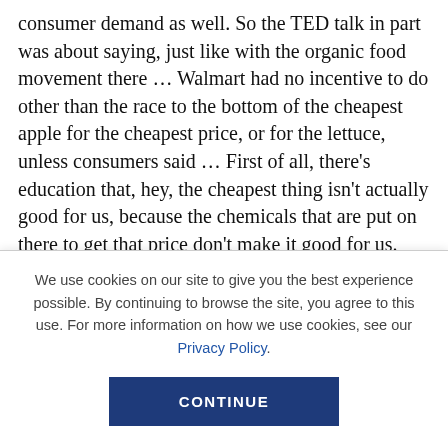consumer demand as well. So the TED talk in part was about saying, just like with the organic food movement there … Walmart had no incentive to do other than the race to the bottom of the cheapest apple for the cheapest price, or for the lettuce, unless consumers said … First of all, there's education that, hey, the cheapest thing isn't actually good for us, because the chemicals that are put on there to get that price don't make it good for us. But then people have to be able to define and articulate, what is that thing that's worth
We use cookies on our site to give you the best experience possible. By continuing to browse the site, you agree to this use. For more information on how we use cookies, see our Privacy Policy.
CONTINUE